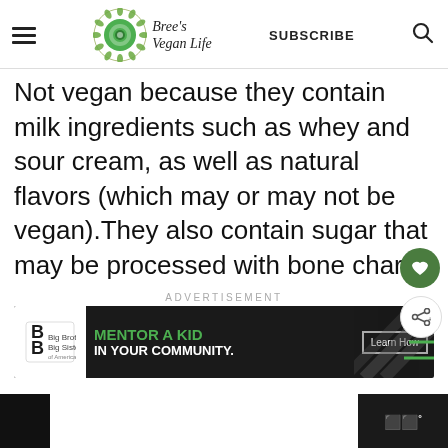Bree's Vegan Life — SUBSCRIBE
Not vegan because they contain milk ingredients such as whey and sour cream, as well as natural flavors (which may or may not be vegan).They also contain sugar that may be processed with bone char.
ADVERTISEMENT
[Figure (other): Advertisement banner for Big Brothers Big Sisters: 'MENTOR A KID IN YOUR COMMUNITY.' with Learn How button]